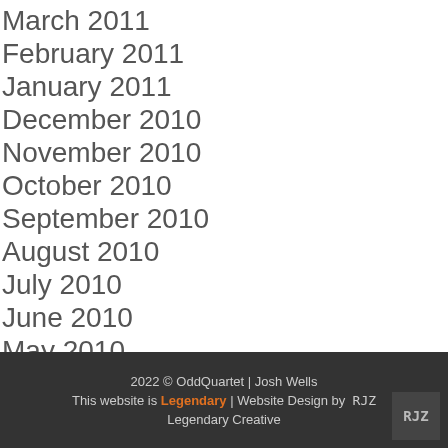March 2011
February 2011
January 2011
December 2010
November 2010
October 2010
September 2010
August 2010
July 2010
June 2010
May 2010
2022 © OddQuartet | Josh Wells
This website is Legendary | Website Design by RJZ
Legendary Creative